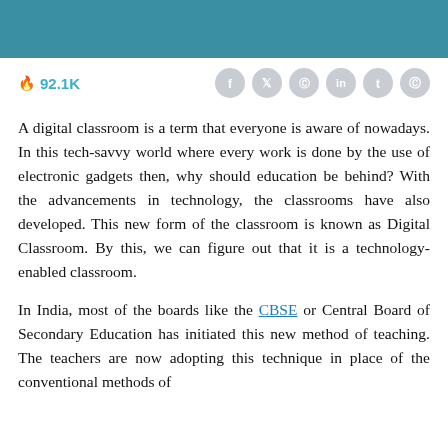[Figure (other): Teal/dark cyan header banner bar at top of page]
🔥 92.1K
[Figure (other): Social media sharing icons: Facebook, Twitter, Pinterest, LinkedIn, Tumblr, another circular icon]
A digital classroom is a term that everyone is aware of nowadays. In this tech-savvy world where every work is done by the use of electronic gadgets then, why should education be behind? With the advancements in technology, the classrooms have also developed. This new form of the classroom is known as Digital Classroom. By this, we can figure out that it is a technology-enabled classroom.
In India, most of the boards like the CBSE or Central Board of Secondary Education has initiated this new method of teaching. The teachers are now adopting this technique in place of the conventional methods of